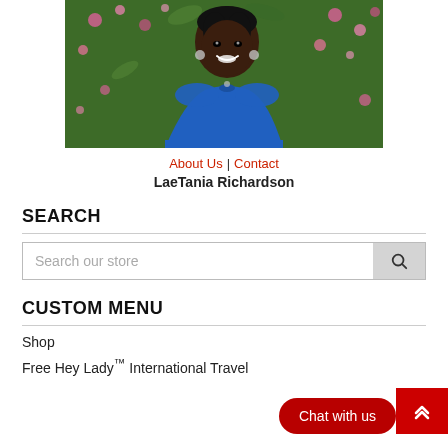[Figure (photo): Portrait photo of LaeTania Richardson, a woman smiling, wearing a blue top, with pink flowers and greenery in the background]
About Us | Contact
LaeTania Richardson
SEARCH
Search our store
CUSTOM MENU
Shop
Free Hey Lady™ International Travel